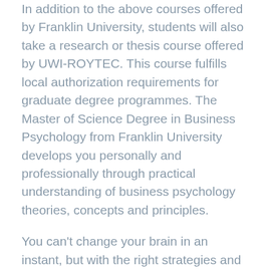In addition to the above courses offered by Franklin University, students will also take a research or thesis course offered by UWI-ROYTEC. This course fulfills local authorization requirements for graduate degree programmes. The Master of Science Degree in Business Psychology from Franklin University develops you personally and professionally through practical understanding of business psychology theories, concepts and principles.
You can't change your brain in an instant, but with the right strategies and enough willpower, you can teach yourself new habits, changing the way you live one behavior at a time. This is essential for your own self-development, but as a manager, it's also essential for leading the way, showing your employees that they can grow too. In this book, Heath dissects some of the most persistent, influential ideas and uncovers the persuasive DNA they share. If you want to make sure one of your ideas actually succeeds, this is the business psychology book to turn to. The problems you deal with are